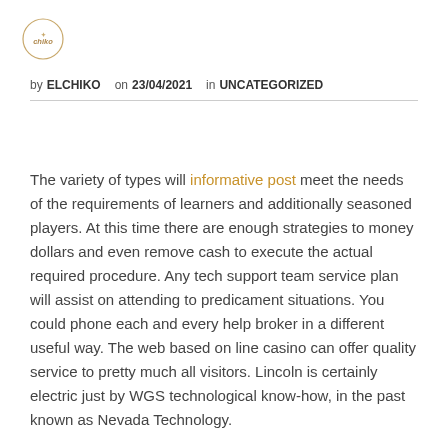[Figure (logo): Chiko logo — circular badge with stylized text 'chiko' in gold/brown on white background with circle border]
by ELCHIKO on 23/04/2021 in UNCATEGORIZED
The variety of types will informative post meet the needs of the requirements of learners and additionally seasoned players. At this time there are enough strategies to money dollars and even remove cash to execute the actual required procedure. Any tech support team service plan will assist on attending to predicament situations. You could phone each and every help broker in a different useful way. The web based on line casino can offer quality service to pretty much all visitors. Lincoln is certainly electric just by WGS technological know-how, in the past known as Nevada Technology.